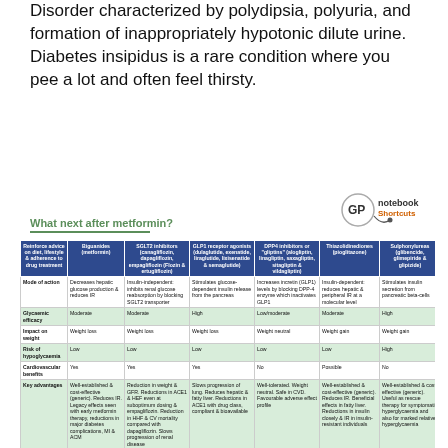Disorder characterized by polydipsia, polyuria, and formation of inappropriately hypotonic dilute urine. Diabetes insipidus is a rare condition where you pee a lot and often feel thirsty.
What next after metformin?
[Figure (logo): GP notebook Shortcuts logo with stethoscope graphic]
| Reinforce advice on diet, lifestyle & adherence to drug treatment | Biguanides (metformin) | SGLT2 inhibitors (canagliflozin, dapagliflozin, empagliflozin (Flozin & ertugliflozin) | GLP1 receptor agonists (dulaglutide, exenatide, liraglutide, lixisenatide & semaglutide) | DPP4 inhibitors or 'gliptins' (alogliptin, linagliptin, saxagliptin, sitagliptin & vildagliptin) | Thiazolidinediones (pioglitazone) | Sulphonylureas (glibencide, glimepiride & glipizide) |
| --- | --- | --- | --- | --- | --- | --- |
| Mode of action | Decreases hepatic glucose production & reduces IR | Insulin-independent: inhibits renal glucose reabsorption by blocking SGLT2 transporter | Stimulates glucose-dependent insulin release from the pancreas | Increases incretin (GLP1) levels by blocking DPP-4 enzyme which inactivates GLP1 | Insulin-dependent: reduces hepatic & peripheral IR at a molecular level | Stimulates insulin secretion from pancreatic beta-cells |
| Glycaemic efficacy | Moderate | Moderate | High | Low/moderate | Moderate | High |
| Impact on weight | Weight loss | Weight loss | Weight loss | Weight neutral | Weight gain | Weight gain |
| Risk of hypoglycaemia | Low | Low | Low | Low | Low | High |
| Cardiovascular benefits | Yes | Yes | Yes | No | Possible | No |
| Key advantages | Well-established & cost-effective (generic). Reduces IR. Legacy effects seen with early metformin therapy, reductions in major diabetes complications, MI & ACM | Reduction in weight & GFR. Reductions in ACE1 & HEF even at suboptimum dosing & empagliflozin. Reduction in HHF & CV mortality compared with dapagliflozin. Slows progression of renal disease | Slows progression of lung. Reduces hepatic & fatty liver. Reductions in ACE1 with drug class, compliant & bioavailable | Well-tolerated. Weight neutral. Safe in CVD. Favourable adverse effect profile | Well-established & cost-effective (generic). Reduces IR. Beneficial effects in fatty liver. Reductions in insulin closely & IR in insulin-resistant individuals | Well-established & cost-effective (generic). Useful as rescue therapy for symptomatic hyperglycaemia (e.g. sulpropyrine & pioglitazone) and also for marked relative hyperglycaemia |
| Prescribing in renal impairment (see GPnotebook Shortcut) | Maximum tolerated dose to eGFR >45. Reduce dose to 500mg od if eGFR 30-45. Avoid if eGFR <30 | Do not initiate if eGFR <60. If eGFR subsequently falls, use canagliflozin & empagliflozin need to stop after two weeks, check current NICE all if eGFR <45 | Dulaglutide, liraglutide & semaglutide can be used down to eGFR 15. Exenatide tabs & lixisenatide can be used down to eGFR 30. Avoid exenatide qw / CrCl <50 ml/min | Can be used down to eGFR <15 with dose/duration required for long terms | Can be used down to eGFR <15 but avoid in those on dialysis | Increased risk of hypoglycaemia & eGFR <30, consider reducing dose. Avoid if eGFR <30. Several drug interactions, check current BNF |
| Precautions & adverse effects | GI side effects common: 'Start low go slow' long-term use can lead to vitamin B12 deficiency, check folic/analy. 'See day guidance once valid due to possible association with LA | Mycotic genital infections & UTIs common, potential hepatotoxicity, dietary intolerance & possible demineralization with increases in LVA (predominantly tall & postural) with canagliflozin but has not been confirmed to increase risk to avoid all SGLT2s in those with a pre-existing diabetic foot disease or functional DKD | Injection. GI side-effects common. Contraindicated UED2 & MTC. Small increase in cholecystitis with drug class, small worsening of pre-existing DR with strengthen/skin monitor, recovery DR. Possible increase in pancreatitis | GI side common. Possible increase in pancreatitis. Rarely, anaphylaxis, urticaria, UTIs, angioedema & arthralgia. Small increase in HHF with saxagliptin | Peripheral & visceral oedema, continued elderly in heart failure & caution in macular oedema, increases fracture risk. Possible link with bladder cancer, contraindicated in liver disease, and & bladder cancer, Careful urine before starting | & should have access to SMBC especially drivers in view of risk of hypoglycaemia. Poor durability of effect, weight is likely. Give during & hypoglycemia is above |